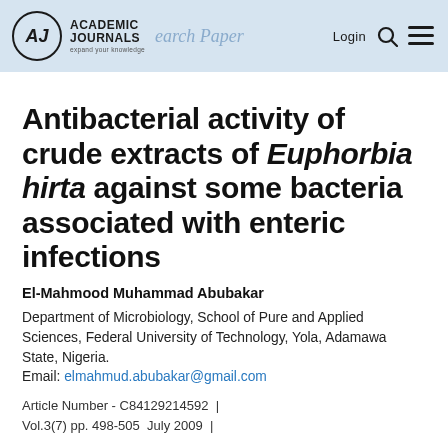Academic Journals | Login | Research Paper
Antibacterial activity of crude extracts of Euphorbia hirta against some bacteria associated with enteric infections
El-Mahmood Muhammad Abubakar
Department of Microbiology, School of Pure and Applied Sciences, Federal University of Technology, Yola, Adamawa State, Nigeria.
Email: elmahmud.abubakar@gmail.com
Article Number - C84129214592  |  Vol.3(7) pp. 498-505  July 2009  |